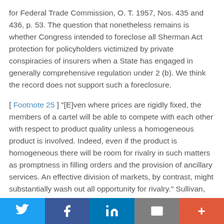for Federal Trade Commission, O. T. 1957, Nos. 435 and 436, p. 53. The question that nonetheless remains is whether Congress intended to foreclose all Sherman Act protection for policyholders victimized by private conspiracies of insurers when a State has engaged in generally comprehensive regulation under 2 (b). We think the record does not support such a foreclosure.
[ Footnote 25 ] "[E]ven where prices are rigidly fixed, the members of a cartel will be able to compete with each other with respect to product quality unless a homogeneous product is involved. Indeed, even if the product is homogeneous there will be room for rivalry in such matters as promptness in filling orders and the provision of ancillary services. An effective division of markets, by contrast, might substantially wash out all opportunity for rivalry." Sullivan, supra, p. 14, at 334-335.
Twitter | Facebook | LinkedIn | Email | More